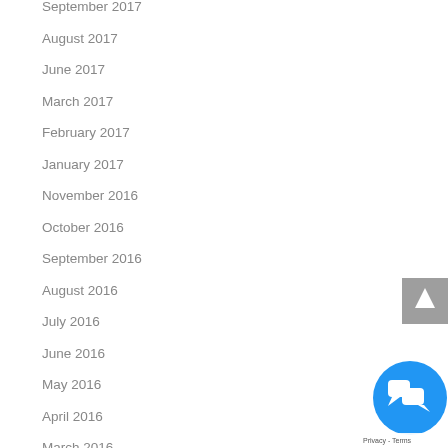September 2017
August 2017
June 2017
March 2017
February 2017
January 2017
November 2016
October 2016
September 2016
August 2016
July 2016
June 2016
May 2016
April 2016
March 2016
[Figure (other): Scroll to top button (grey square with upward arrow) and a blue circular chat/support button with speech bubble icons, and a Privacy-Terms badge.]